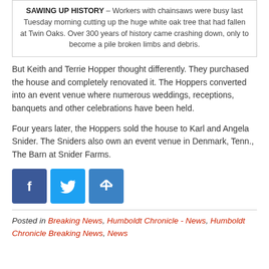SAWING UP HISTORY – Workers with chainsaws were busy last Tuesday morning cutting up the huge white oak tree that had fallen at Twin Oaks. Over 300 years of history came crashing down, only to become a pile broken limbs and debris.
But Keith and Terrie Hopper thought differently. They purchased the house and completely renovated it. The Hoppers converted into an event venue where numerous weddings, receptions, banquets and other celebrations have been held.
Four years later, the Hoppers sold the house to Karl and Angela Snider. The Sniders also own an event venue in Denmark, Tenn., The Barn at Snider Farms.
[Figure (other): Social sharing buttons: Facebook, Twitter, Share]
Posted in Breaking News, Humboldt Chronicle - News, Humboldt Chronicle Breaking News, News